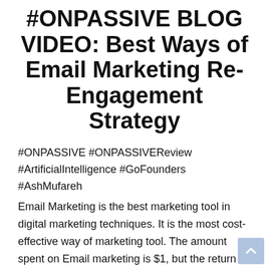#ONPASSIVE BLOG VIDEO: Best Ways of Email Marketing Re-Engagement Strategy
#ONPASSIVE #ONPASSIVEReview #ArtificialIntelligence #GoFounders #AshMufareh
Email Marketing is the best marketing tool in digital marketing techniques. It is the most cost-effective way of marketing tool. The amount spent on Email marketing is $1, but the return on investment will be like approximately $45, so we can understand the frequency of its benefits